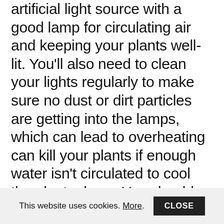artificial light source with a good lamp for circulating air and keeping your plants well-lit. You'll also need to clean your lights regularly to make sure no dust or dirt particles are getting into the lamps, which can lead to overheating can kill your plants if enough water isn't circulated to cool the plants down. You should also pay close attention to your watering techniques; since you're indoor garden system doesn't get exposed to the elements like outdoor garden lighting does, you'll need to water less often to avoid stressing your plants.
This website uses cookies. More. CLOSE